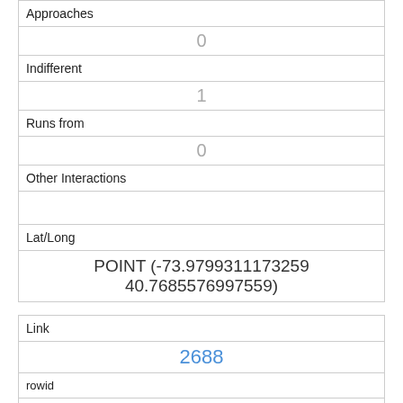| Approaches |  |
|  | 0 |
| Indifferent |  |
|  | 1 |
| Runs from |  |
|  | 0 |
| Other Interactions |  |
| Lat/Long |  |
|  | POINT (-73.9799311173259 40.7685576997559) |
| Link |  |
|  | 2688 |
| rowid |  |
|  | 2688 |
| longitude |  |
|  | -73.9799302952205 |
| latitude |  |
|  | 40.767720720979796 |
| Unique Squirrel ID |  |